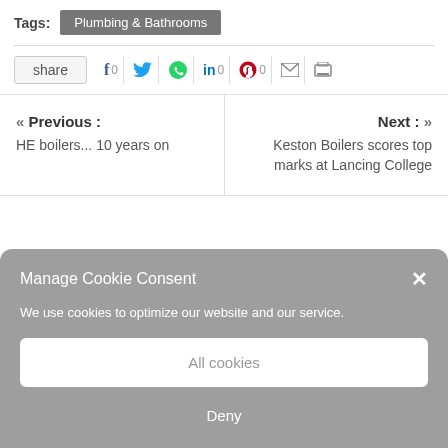Tags: Plumbing & Bathrooms
share  f 0  [twitter]  [whatsapp]  in 0  [pinterest] 0  [mail]  [print]
« Previous : HE boilers... 10 years on
Next : » Keston Boilers scores top marks at Lancing College
Manage Cookie Consent
We use cookies to optimize our website and our service.
All cookies
Deny